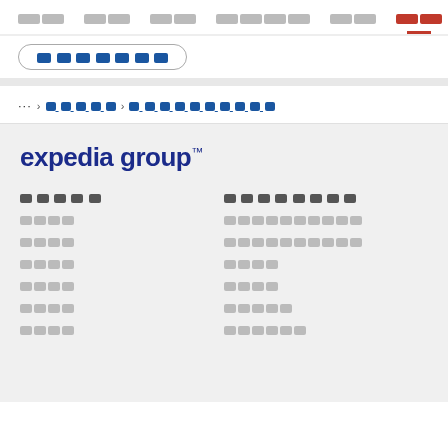[nav items] [active nav item]
[nav button]
... > [breadcrumb link] > [breadcrumb page]
[Figure (logo): Expedia Group logo with dark navy blue text]
[footer section left title] [footer links left column]
[footer section right title] [footer links right column]